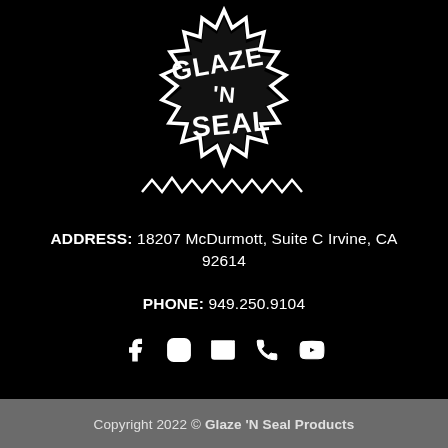[Figure (logo): Glaze 'N Seal logo — white starburst badge with 'GLAZE N SEAL' text on black background]
ADDRESS: 18207 McDurmott, Suite C Irvine, CA 92614
PHONE: 949.250.9104
[Figure (other): Social media icons: Facebook, Instagram, Email, Phone, YouTube]
Copyright 2022 © Glaze 'N Seal Products